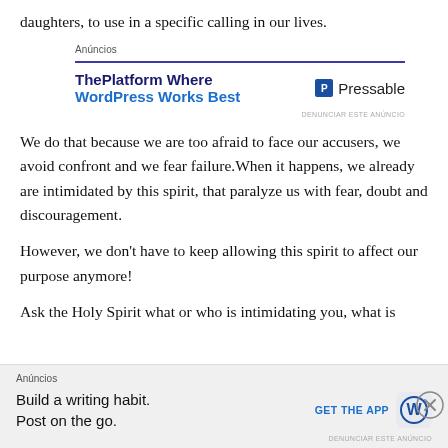daughters, to use in a specific calling in our lives.
[Figure (infographic): Advertisement banner for Pressable: 'ThePlatform Where WordPress Works Best' with Pressable logo. Label: Anúncios. Denunciar este anúncio link.]
We do that because we are too afraid to face our accusers, we avoid confront and we fear failure.When it happens, we already are intimidated by this spirit, that paralyze us with fear, doubt and discouragement.
However, we don't have to keep allowing this spirit to affect our purpose anymore!
Ask the Holy Spirit what or who is intimidating you, what is
[Figure (infographic): Bottom advertisement bar: 'Anúncios' label. 'Build a writing habit. Post on the go.' with GET THE APP button and WordPress logo icon. Denunciar este anúncio.]